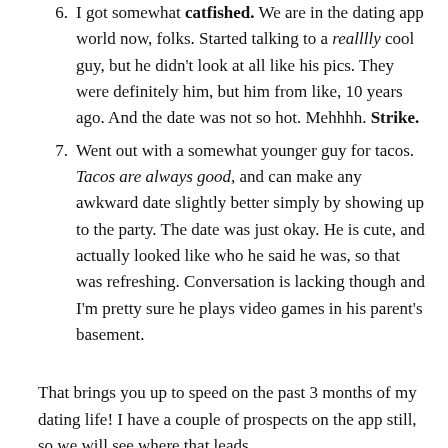I got somewhat catfished. We are in the dating app world now, folks. Started talking to a realllly cool guy, but he didn't look at all like his pics. They were definitely him, but him from like, 10 years ago. And the date was not so hot. Mehhhh. Strike.
Went out with a somewhat younger guy for tacos. Tacos are always good, and can make any awkward date slightly better simply by showing up to the party. The date was just okay. He is cute, and actually looked like who he said he was, so that was refreshing. Conversation is lacking though and I'm pretty sure he plays video games in his parent's basement.
That brings you up to speed on the past 3 months of my dating life! I have a couple of prospects on the app still, so we will see where that leads.